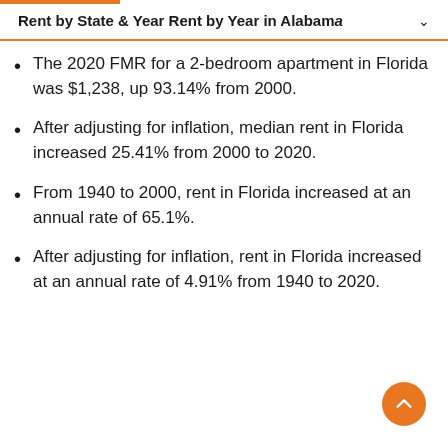Rent by State & Year Rent by Year in Alabama
The 2020 FMR for a 2-bedroom apartment in Florida was $1,238, up 93.14% from 2000.
After adjusting for inflation, median rent in Florida increased 25.41% from 2000 to 2020.
From 1940 to 2000, rent in Florida increased at an annual rate of 65.1%.
After adjusting for inflation, rent in Florida increased at an annual rate of 4.91% from 1940 to 2020.